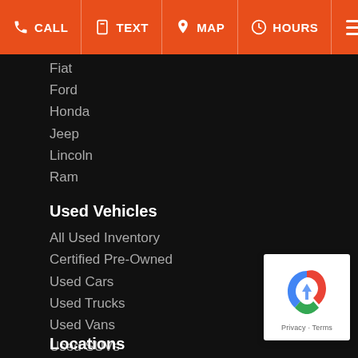CALL  TEXT  MAP  HOURS
Fiat
Ford
Honda
Jeep
Lincoln
Ram
Used Vehicles
All Used Inventory
Certified Pre-Owned
Used Cars
Used Trucks
Used Vans
Used SUVs
Used Crossovers
Vehicles Under $10,000
Limited Powertrain Warranty
Value Your Trade
Schedule Test Drive
Locations
[Figure (logo): reCAPTCHA badge with Google logo, showing Privacy and Terms links]